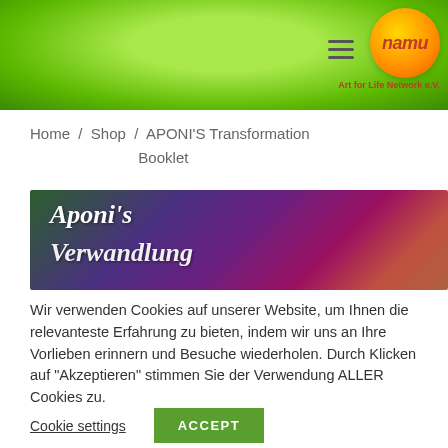[Figure (illustration): Green header with namu logo (orange circle with red italic text 'namu') and hamburger menu icon. Tagline 'Art for Life Network e.V.' in red below logo.]
Home / Shop / APONI'S Transformation Booklet
[Figure (photo): Book cover image showing 'Aponi's Verwandlung' text in white italic on a colorful painted background with greens, purples, pinks and earth tones.]
Wir verwenden Cookies auf unserer Website, um Ihnen die relevanteste Erfahrung zu bieten, indem wir uns an Ihre Vorlieben erinnern und Besuche wiederholen. Durch Klicken auf "Akzeptieren" stimmen Sie der Verwendung ALLER Cookies zu.
Cookie settings
ACCEPT